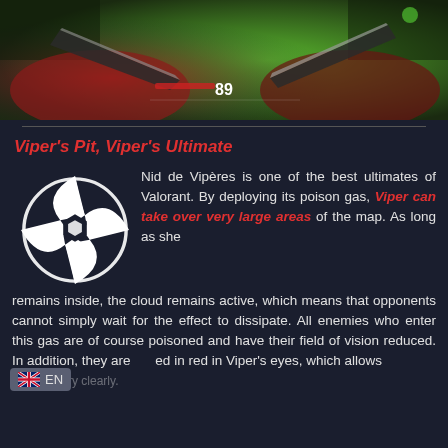[Figure (screenshot): In-game screenshot from Valorant showing a character wielding a knife with green poison gas background and HUD showing number 89]
Viper's Pit, Viper's Ultimate
[Figure (logo): White Valorant-style abstract biohazard/star logo icon for Viper's Pit ability]
Nid de Vipères is one of the best ultimates of Valorant. By deploying its poison gas, Viper can take over very large areas of the map. As long as she remains inside, the cloud remains active, which means that opponents cannot simply wait for the effect to dissipate. All enemies who enter this gas are of course poisoned and have their field of vision reduced. In addition, they are highlighted in red in Viper's eyes, which allows to see them very clearly.